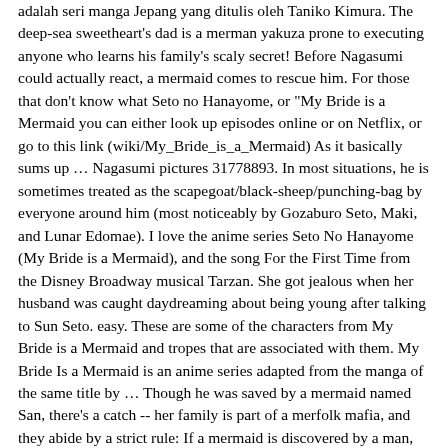adalah seri manga Jepang yang ditulis oleh Taniko Kimura. The deep-sea sweetheart's dad is a merman yakuza prone to executing anyone who learns his family's scaly secret! Before Nagasumi could actually react, a mermaid comes to rescue him. For those that don't know what Seto no Hanayome, or "My Bride is a Mermaid you can either look up episodes online or on Netflix, or go to this link (wiki/My_Bride_is_a_Mermaid) As it basically sums up … Nagasumi pictures 31778893. In most situations, he is sometimes treated as the scapegoat/black-sheep/punching-bag by everyone around him (most noticeably by Gozaburo Seto, Maki, and Lunar Edomae). I love the anime series Seto No Hanayome (My Bride is a Mermaid), and the song For the First Time from the Disney Broadway musical Tarzan. She got jealous when her husband was caught daydreaming about being young after talking to Sun Seto. easy. These are some of the characters from My Bride is a Mermaid and tropes that are associated with them. My Bride Is a Mermaid is an anime series adapted from the manga of the same title by … Though he was saved by a mermaid named San, there's a catch -- her family is part of a merfolk mafia, and they abide by a strict rule: If a mermaid is discovered by a man, either he or the mermaid must die. Plot Summary: During his summer vacation, middle school student Nagasumi Michishio travels to the Seto Inland Sea. could be said to lack self-respect and lacking a firm moral base. Under mermaid law however, either the mermaid whose identity was revealed or the human who saw the mermaid